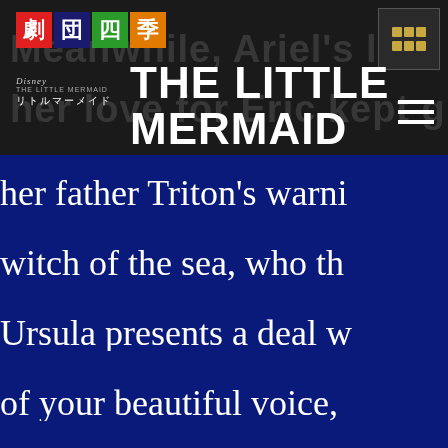[Figure (logo): Gekidan Shiki logo with four colored kanji characters: 劇(red), 団(navy), 四(green), 季(orange)]
THE LITTLE MERMAID
her father Triton's warni witch of the sea, who th Ursula presents a deal of your beautiful voice,